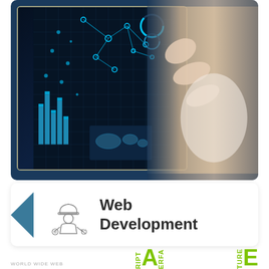[Figure (photo): Person in white shirt touching a large interactive touchscreen display showing data dashboards with network nodes, bar charts, and a world map. Dark blue background on screen with cyan/blue visualizations.]
[Figure (illustration): White card with teal triangle accent on left edge, a construction/engineering worker icon in the center-left, and bold text 'Web Development' on the right. Bottom shows partial tech logos with green letters.]
Web Development
WORLD WIDE WEB